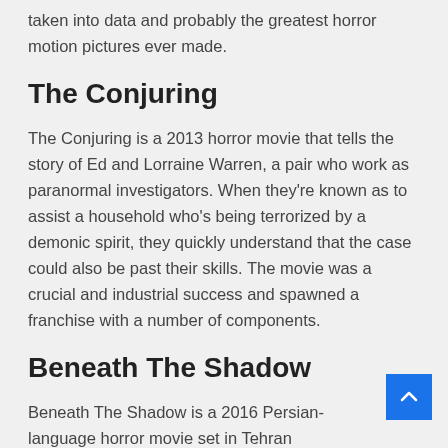taken into data and probably the greatest horror motion pictures ever made.
The Conjuring
The Conjuring is a 2013 horror movie that tells the story of Ed and Lorraine Warren, a pair who work as paranormal investigators. When they're known as to assist a household who's being terrorized by a demonic spirit, they quickly understand that the case could also be past their skills. The movie was a crucial and industrial success and spawned a franchise with a number of components.
Beneath The Shadow
Beneath The Shadow is a 2016 Persian-language horror movie set in Tehran throughout the Nineteen Eighties Iran-Iraq Warfare. The movie follows Shideh; a girl compelled to remain at dwelling